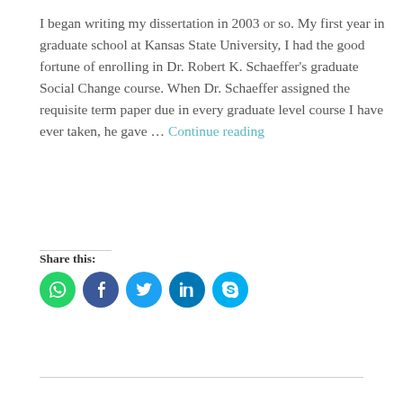I began writing my dissertation in 2003 or so. My first year in graduate school at Kansas State University, I had the good fortune of enrolling in Dr. Robert K. Schaeffer's graduate Social Change course. When Dr. Schaeffer assigned the requisite term paper due in every graduate level course I have ever taken, he gave … Continue reading
Share this:
[Figure (infographic): Five social media share buttons as colored circles: WhatsApp (green), Facebook (dark blue), Twitter (light blue), LinkedIn (medium blue), Skype (cyan)]